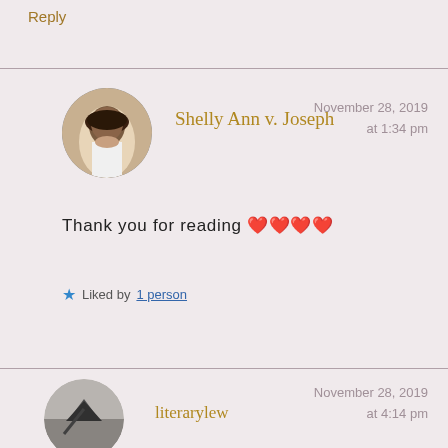Reply
Shelly Ann v. Joseph
November 28, 2019 at 1:34 pm
[Figure (photo): Circular avatar photo of a woman in a white top]
Thank you for reading 💕💕💕💕
★ Liked by 1 person
literarylew
November 28, 2019 at 4:14 pm
[Figure (photo): Circular avatar photo — grayscale image with a bird or aircraft silhouette]